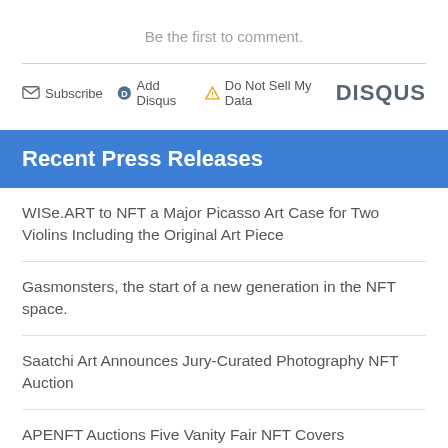Be the first to comment.
Subscribe  Add Disqus  Do Not Sell My Data  DISQUS
Recent Press Releases
WISe.ART to NFT a Major Picasso Art Case for Two Violins Including the Original Art Piece
Gasmonsters, the start of a new generation in the NFT space.
Saatchi Art Announces Jury-Curated Photography NFT Auction
APENFT Auctions Five Vanity Fair NFT Covers
REVA holds offline NFT crypto art exhibition